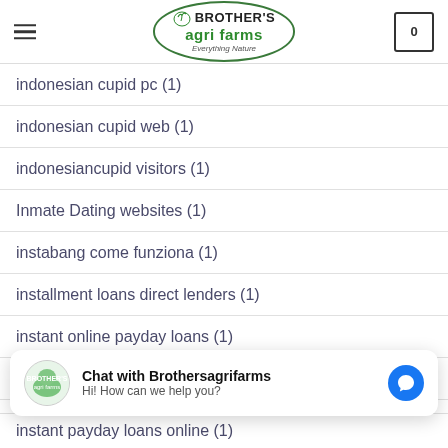Brother's Agri Farms - Everything Nature
indonesian cupid pc (1)
indonesian cupid web (1)
indonesiancupid visitors (1)
Inmate Dating websites (1)
instabang come funziona (1)
installment loans direct lenders (1)
instant online payday loans (1)
instant payday loan (1)
instant payday loans online (1)